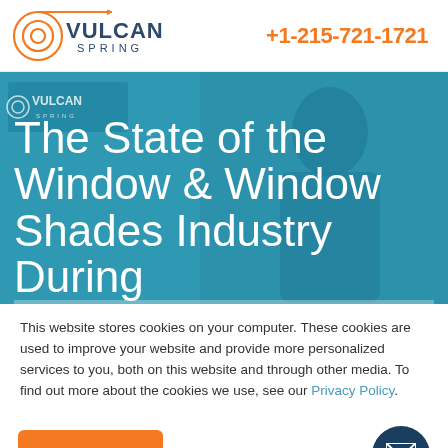[Figure (logo): Vulcan Spring logo with concentric circles icon and company name, plus phone number +1-215-721-1721]
The State of the Window & Window Shades Industry During
This website stores cookies on your computer. These cookies are used to improve your website and provide more personalized services to you, both on this website and through other media. To find out more about the cookies we use, see our Privacy Policy.
[Figure (other): Orange Accept button and dark navy circular email/envelope icon button]